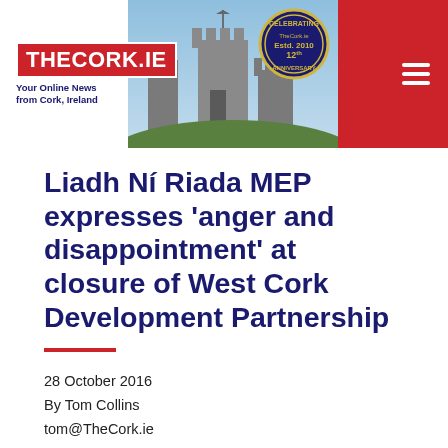THECORK.IE — Your Online News from Cork, Ireland
Liadh Ní Riada MEP expresses 'anger and disappointment' at closure of West Cork Development Partnership
28 October 2016
By Tom Collins
tom@TheCork.ie
[Figure (photo): Headshot photograph of a person with brown hair against a light background]